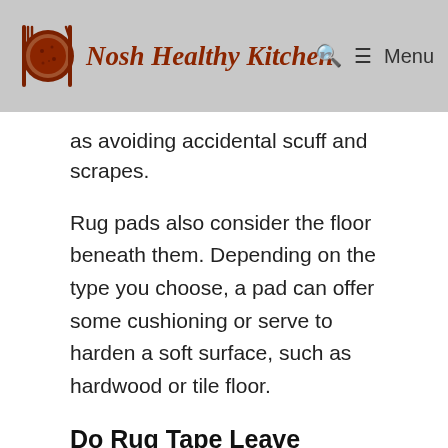Nosh Healthy Kitchen  Menu
as avoiding accidental scuff and scrapes.
Rug pads also consider the floor beneath them. Depending on the type you choose, a pad can offer some cushioning or serve to harden a soft surface, such as hardwood or tile floor.
Do Rug Tape Leave Marks On Wood Floor?
[Figure (other): Advertisement: Powered By Walgreens - Walgreens Photo banner ad with directional arrow icon]